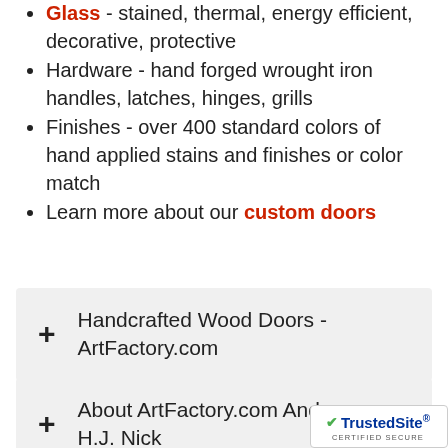Glass - stained, thermal, energy efficient, decorative, protective
Hardware - hand forged wrought iron handles, latches, hinges, grills
Finishes - over 400 standard colors of hand applied stains and finishes or color match
Learn more about our custom doors
+ Handcrafted Wood Doors - ArtFactory.com
+ About ArtFactory.com And H.J. Nick